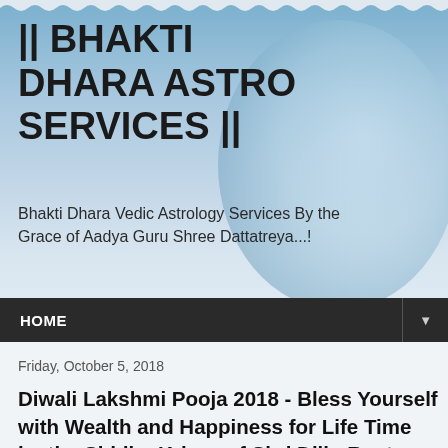|| BHAKTI DHARA ASTRO SERVICES ||
Bhakti Dhara Vedic Astrology Services By the Grace of Aadya Guru Shree Dattatreya...!
HOME
Friday, October 5, 2018
Diwali Lakshmi Pooja 2018 - Bless Yourself with Wealth and Happiness for Life Time by the Siddha Kriyas of Shri Dilip Raut
Dear Readers and Followers
Here I present his Siddha Kriya of a welfare of youth...